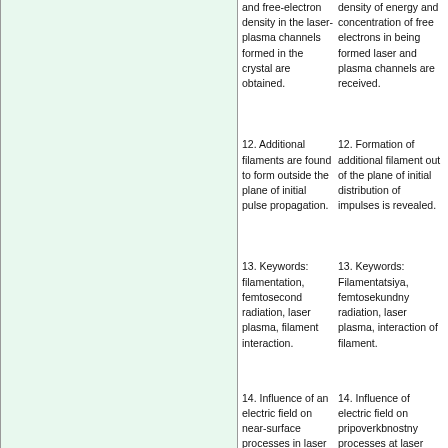and free-electron density in the laser-plasma channels formed in the crystal are obtained.
density of energy and concentration of free electrons in being formed laser and plasma channels are received.
12. Additional filaments are found to form outside the plane of initial pulse propagation.
12. Formation of additional filament out of the plane of initial distribution of impulses is revealed.
13. Keywords: filamentation, femtosecond radiation, laser plasma, filament interaction.
13. Keywords: Filamentatsiya, femtosekundny radiation, laser plasma, interaction of filament.
14. Influence of an electric field on near-surface processes in laser processing
14. Influence of electric field on pripoverkbnostny processes at laser processing of metals